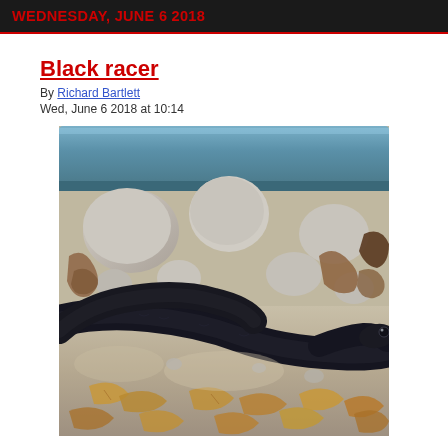WEDNESDAY, JUNE 6 2018
Black racer
By Richard Bartlett
Wed, June 6 2018 at 10:14
[Figure (photo): A black racer snake coiled among rocks, dry leaves, and debris under a blue metallic surface. The snake is dark/black in color with a visible eye, resting on sandy ground with stones and dried leaves.]